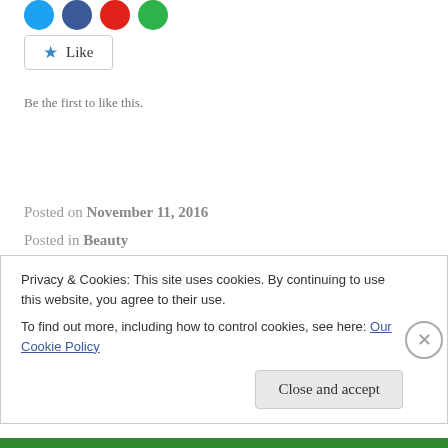[Figure (other): Social media share icons (blue Twitter, blue Facebook, red Pinterest, green other) at top left]
[Figure (other): Like button with blue star icon and text 'Like']
Be the first to like this.
Posted on November 11, 2016
Posted in Beauty
Tagged bblogger, Beauty, beautyblog, beautyproducts, boutique, classic, Fashion, makeupbag, metallic, nude, red, sainburys, trends
Privacy & Cookies: This site uses cookies. By continuing to use this website, you agree to their use.
To find out more, including how to control cookies, see here: Our Cookie Policy
Close and accept